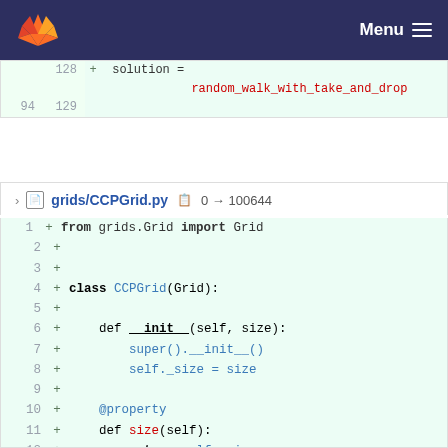[Figure (screenshot): GitLab navigation bar with fox logo and Menu button]
[Figure (screenshot): Git diff view showing partial file with lines 128-129, solution = random_walk_with_take_and_drop]
grids/CCPGrid.py  0 → 100644
[Figure (screenshot): Git diff view of grids/CCPGrid.py lines 1-14, new file with Python class CCPGrid(Grid) definition]